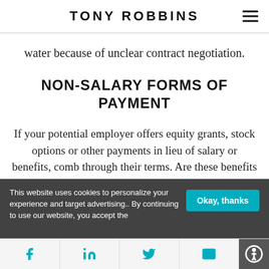TONY ROBBINS
water because of unclear contract negotiation.
NON-SALARY FORMS OF PAYMENT
If your potential employer offers equity grants, stock options or other payments in lieu of salary or benefits, comb through their terms. Are these benefits tax-advantaged? What is the exercise price of any stock
This website uses cookies to personalize your experience and target advertising.. By continuing to use our website, you accept the
Okay, thanks